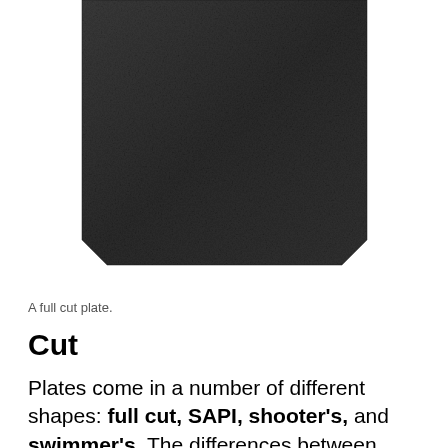[Figure (photo): A full cut ballistic plate, dark charcoal/black color, rectangular with clipped bottom corners, photographed against a white background. The plate is shown from the front, occupying the upper portion of the image.]
A full cut plate.
Cut
Plates come in a number of different shapes: full cut, SAPI, shooter's, and swimmer's. The differences between these are minor, and each cut (besides SAPI, a military standard) differs from manufacturer to manufacturer. While most plates are